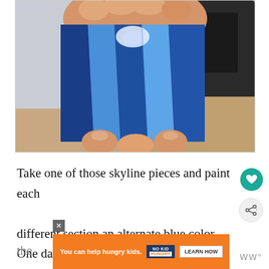[Figure (photo): A hand holding a wooden skyline piece wrapped with multiple strips of blue painter's tape in alternating shades of blue (dark and lighter blue). A black metal square is visible in the background.]
Take one of those skyline pieces and paint each different section an alternate blue color. One dar... the...
[Figure (other): Advertisement banner: orange background with text 'You can help hungry kids.' with No Kid Hungry logo and a 'LEARN HOW' button. Close button (X) in top right. Share and heart/favorite icon buttons on the right side of the page.]